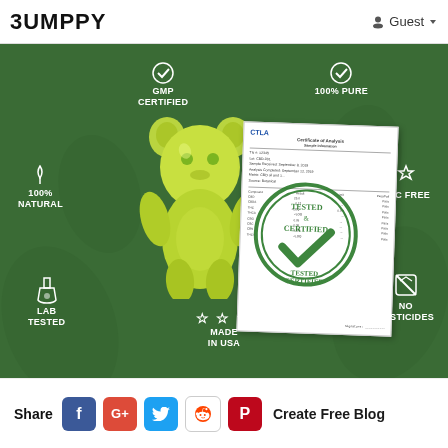BUMPPY  Guest
[Figure (infographic): Green background infographic for CBD gummies product showing a yellow/green gummy bear, a CTLA Certificate of Analysis document with a green 'Tested & Certified' stamp, and six quality badges: GMP Certified, 100% Pure, 100% Natural, THC Free, Lab Tested, No Pesticides, Made in USA]
Share  f  G+  t  [reddit]  [pinterest]  Create Free Blog